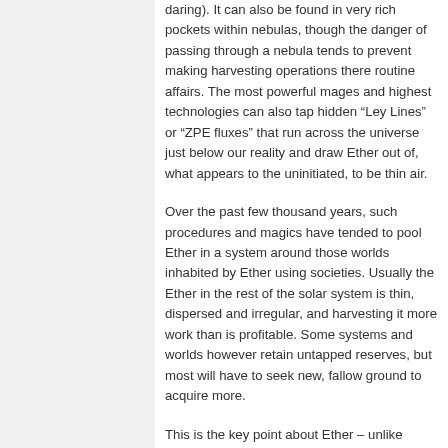daring). It can also be found in very rich pockets within nebulas, though the danger of passing through a nebula tends to prevent making harvesting operations there routine affairs. The most powerful mages and highest technologies can also tap hidden “Ley Lines” or “ZPE fluxes” that run across the universe just below our reality and draw Ether out of, what appears to the uninitiated, to be thin air.
Over the past few thousand years, such procedures and magics have tended to pool Ether in a system around those worlds inhabited by Ether using societies. Usually the Ether in the rest of the solar system is thin, dispersed and irregular, and harvesting it more work than is profitable. Some systems and worlds however retain untapped reserves, but most will have to seek new, fallow ground to acquire more.
This is the key point about Ether – unlike Industry, Wealth and Research, Ether Production